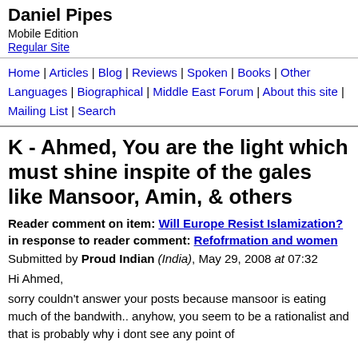Daniel Pipes
Mobile Edition
Regular Site
Home | Articles | Blog | Reviews | Spoken | Books | Other Languages | Biographical | Middle East Forum | About this site | Mailing List | Search
K - Ahmed, You are the light which must shine inspite of the gales like Mansoor, Amin, & others
Reader comment on item: Will Europe Resist Islamization?
in response to reader comment: Refofrmation and women
Submitted by Proud Indian (India), May 29, 2008 at 07:32
Hi Ahmed,
sorry couldn't answer your posts because mansoor is eating much of the bandwith.. anyhow, you seem to be a rationalist and that is probably why i dont see any point of